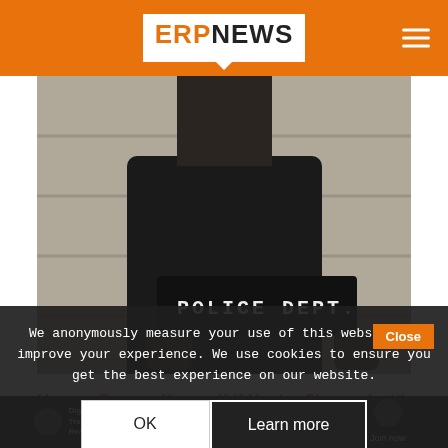ERP NEWS
[Figure (photo): Black and white mugshot-style photo of a person in a dark t-shirt holding a POLICE DEPT. placard]
How to Protect Yourself if You're Charged with a Crime
What do you do if you're accused of a crime? What if the police come to your house and start [...]
We anonymously measure your use of this website to improve your experience. We use cookies to ensure you get the best experience on our website.
OK
Learn more